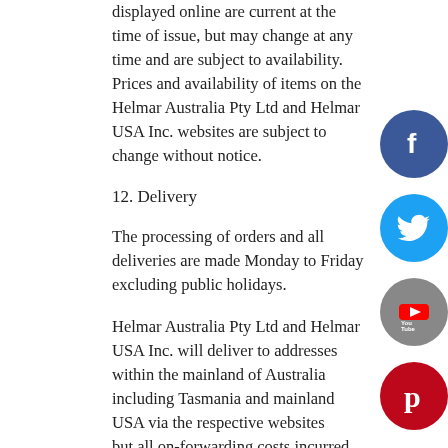displayed online are current at the time of issue, but may change at any time and are subject to availability. Prices and availability of items on the Helmar Australia Pty Ltd and Helmar USA Inc. websites are subject to change without notice.
12. Delivery
The processing of orders and all deliveries are made Monday to Friday excluding public holidays.
Helmar Australia Pty Ltd and Helmar USA Inc. will deliver to addresses within the mainland of Australia including Tasmania and mainland USA via the respective websites but all on-forwarding costs incurred for shipments of orders to any location outside of mainland locations will be at the customer's discretion.
Your order will be processed and delivered within ten business days from the next business day of the your order being received. Delivery may be affected by adverse weather
[Figure (other): Social media icons: Facebook (blue circle with f), Twitter (blue circle with bird), YouTube (grey circle with YouTube logo), Pinterest (red circle with P)]